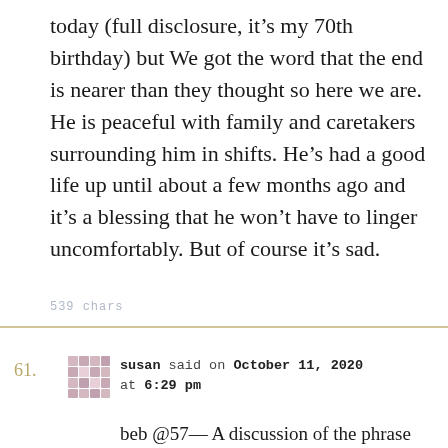today (full disclosure, it's my 70th birthday) but We got the word that the end is nearer than they thought so here we are. He is peaceful with family and caretakers surrounding him in shifts. He's had a good life up until about a few months ago and it's a blessing that he won't have to linger uncomfortably. But of course it's sad.
539 chars
61.   susan said on October 11, 2020 at 6:29 pm

beb @57— A discussion of the phrase "champing at the bit" vs "chomping at